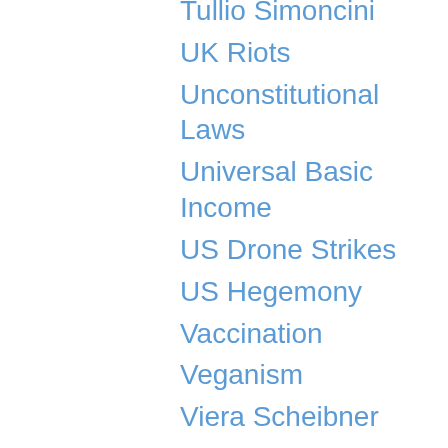Tullio Simoncini
UK Riots
Unconstitutional Laws
Universal Basic Income
US Drone Strikes
US Hegemony
Vaccination
Veganism
Viera Scheibner
Walk Against Warming
We Are Change
Wealth Redistribution
Weather Modification
White Helmets
Wikileaks
William McKinley
World Government
World War I
World War III
WTC7
Zeitgeist
Zika Virus